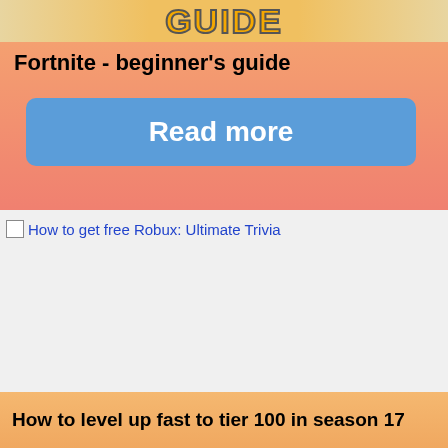[Figure (illustration): Top banner with stylized 'GUIDE' text in orange/yellow with decorative background]
Fortnite - beginner's guide
Read more
How to get free Robux: Ultimate Trivia
How to level up fast to tier 100 in season 17